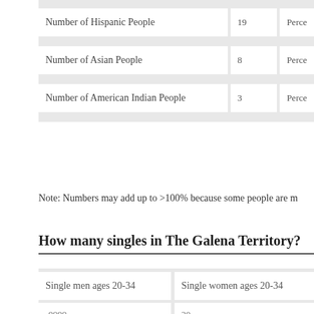| Category | Value | Percent |
| --- | --- | --- |
| Number of Hispanic People | 19 | Percent |
| Number of Asian People | 8 | Percent |
| Number of American Indian People | 3 | Percent |
Note: Numbers may add up to >100% because some people are m...
How many singles in The Galena Territory?
| Single men ages 20-34 | Single women ages 20-34 |
| --- | --- |
| -9999 | 20 |
| Single men ages 35-44 | Single women ages 35-44 |
| 0 | 1 |